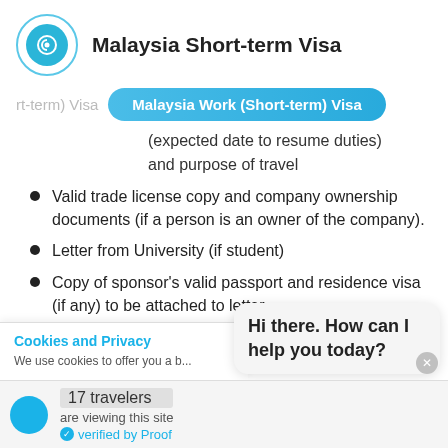Malaysia Short-term Visa
Malaysia Work (Short-term) Visa
(expected date to resume duties) and purpose of travel
Valid trade license copy and company ownership documents (if a person is an owner of the company).
Letter from University (if student)
Copy of sponsor's valid passport and residence visa (if any) to be attached to letter
Cookies and Privacy
We use cookies to offer you a b... serve targeted advertisements. By continuing to use this website, you
Hi there. How can I help you today?
17 travelers
are viewing this site
verified by Proof